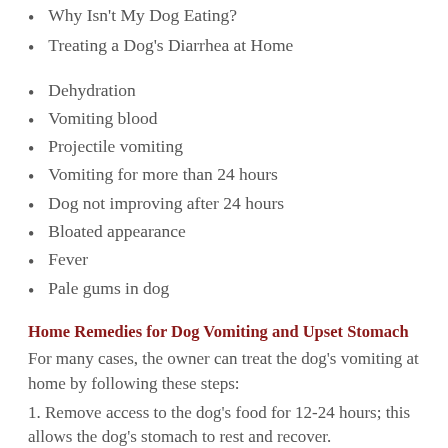Why Isn't My Dog Eating?
Treating a Dog's Diarrhea at Home
Dehydration
Vomiting blood
Projectile vomiting
Vomiting for more than 24 hours
Dog not improving after 24 hours
Bloated appearance
Fever
Pale gums in dog
Home Remedies for Dog Vomiting and Upset Stomach
For many cases, the owner can treat the dog's vomiting at home by following these steps:
1. Remove access to the dog's food for 12-24 hours; this allows the dog's stomach to rest and recover.